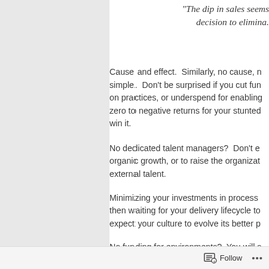“The dip in sales seems decision to elimina.
Cause and effect.  Similarly, no cause, no effect is just as simple.  Don't be surprised if you cut funding on practices, or underspend for enabling zero to negative returns for your stunted win it.
No dedicated talent managers?  Don't expect organic growth, or to raise the organization external talent.
Minimizing your investments in process then waiting for your delivery lifecycle to expect your culture to evolve its better p
No funding for environments?  You will s clobbering one another as they contend